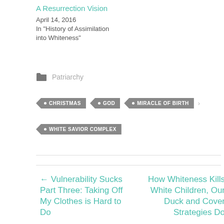A Resurrection Vision
April 14, 2016
In "History of Assimilation into Whiteness"
Patriarchy
CHRISTMAS
GOD
MIRACLE OF BIRTH
WHITE SAVIOR COMPLEX
← Vulnerability Sucks Part Three: Taking Off My Clothes is Hard to Do
How Whiteness Kills White Children, Our Duck and Cover Strategies Do